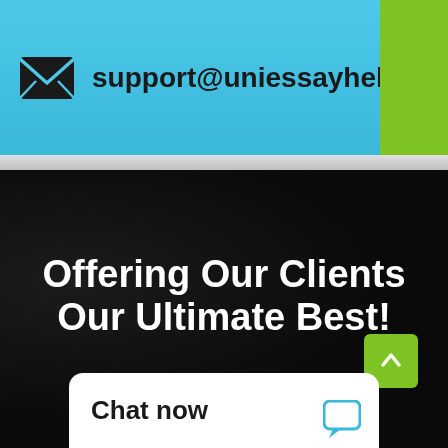support@uniessayhelp.com
Offering Our Clients Our Ultimate Best!
Chat now